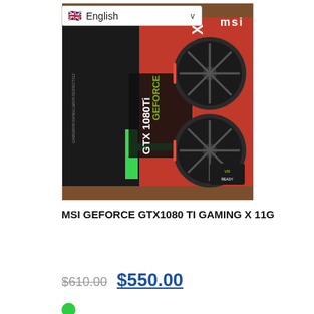[Figure (screenshot): Language selector dropdown showing UK flag and 'English' with a dropdown arrow]
[Figure (photo): MSI GeForce GTX 1080 Ti Gaming X 11G graphics card box showing dual fans, red and black design with MSI logo]
MSI GEFORCE GTX1080 TI GAMING X 11G
$610.00  $550.00